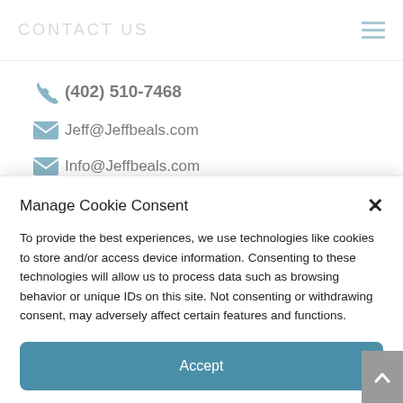CONTACT US
(402) 510-7468
Jeff@Jeffbeals.com
Info@Jeffbeals.com
Manage Cookie Consent
To provide the best experiences, we use technologies like cookies to store and/or access device information. Consenting to these technologies will allow us to process data such as browsing behavior or unique IDs on this site. Not consenting or withdrawing consent, may adversely affect certain features and functions.
Accept
Cookie Policy  Privacy Statement